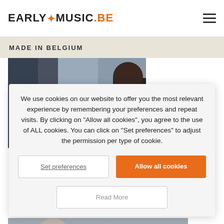EARLY MUSIC.BE
MADE IN BELGIUM
[Figure (photo): Musicians playing stringed instruments in a rehearsal or workshop setting, with audience members in the background.]
We use cookies on our website to offer you the most relevant experience by remembering your preferences and repeat visits. By clicking on “Allow all cookies”, you agree to the use of ALL cookies. You can click on “Set preferences” to adjust the permission per type of cookie.
Set preferences
Allow all cookies
Read More
[Figure (photo): People at what appears to be a music event or lecture, partially visible at the bottom of the page.]